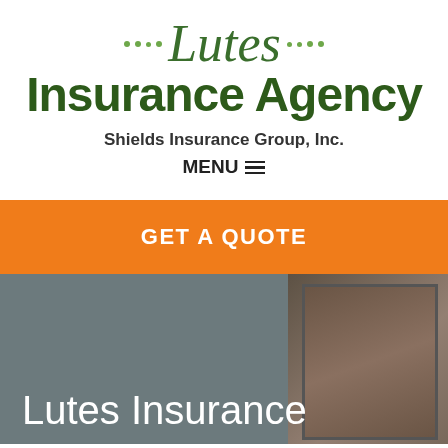[Figure (logo): Lutes Insurance Agency logo with italic script 'Lutes' in green with decorative dots, and bold 'Insurance Agency' text below]
Shields Insurance Group, Inc.
MENU ☰
GET A QUOTE
Lutes Insurance